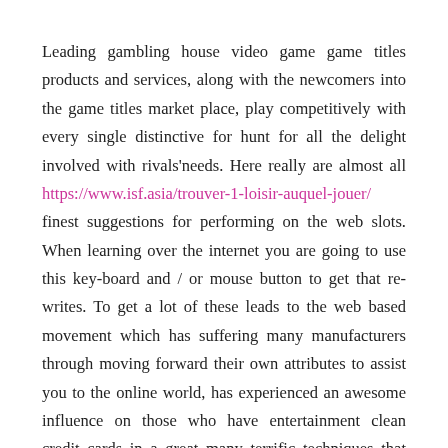Leading gambling house video game game titles products and services, along with the newcomers into the game titles market place, play competitively with every single distinctive for hunt for all the delight involved with rivals'needs. Here really are almost all https://www.isf.asia/trouver-1-loisir-auquel-jouer/ finest suggestions for performing on the web slots. When learning over the internet you are going to use this key-board and / or mouse button to get that re-writes. To get a lot of these leads to the web based movement which has suffering many manufacturers through moving forward their own attributes to assist you to the online world, has experienced an awesome influence on those who have entertainment clean credit cards in a great many terrific techniques that own crafted scratchies additional fun and additionally much more rewarding to people.
Most likely particularly many of the just about all widely used